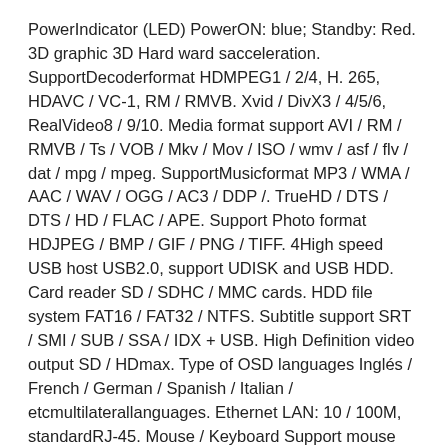PowerIndicator (LED) PowerON: blue; Standby: Red. 3D graphic 3D Hard ward sacceleration. SupportDecoderformat HDMPEG1 / 2/4, H. 265, HDAVC / VC-1, RM / RMVB. Xvid / DivX3 / 4/5/6, RealVideo8 / 9/10. Media format support AVI / RM / RMVB / Ts / VOB / Mkv / Mov / ISO / wmv / asf / flv / dat / mpg / mpeg. SupportMusicformat MP3 / WMA / AAC / WAV / OGG / AC3 / DDP /. TrueHD / DTS / DTS / HD / FLAC / APE. Support Photo format HDJPEG / BMP / GIF / PNG / TIFF. 4High speed USB host USB2.0, support UDISK and USB HDD. Card reader SD / SDHC / MMC cards. HDD file system FAT16 / FAT32 / NTFS. Subtitle support SRT / SMI / SUB / SSA / IDX + USB. High Definition video output SD / HDmax. Type of OSD languages Inglés / French / German / Spanish / Italian / etcmultilaterallanguages. Ethernet LAN: 10 / 100M, standardRJ-45. Mouse / Keyboard Support mouse and keyboard via USB. Mouseand 2.4GHz wireless